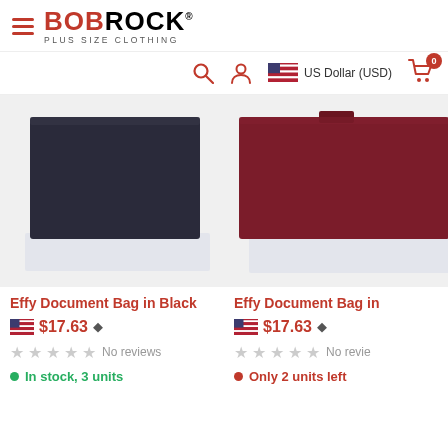BOBROCK PLUS SIZE CLOTHING
[Figure (screenshot): Navigation icons: search, account, US flag with US Dollar (USD), and cart with badge 0]
[Figure (photo): Effy Document Bag in Black - flat black leather document bag on white background]
Effy Document Bag in Black
$17.63
No reviews
In stock, 3 units
[Figure (photo): Effy Document Bag in dark red/maroon - flat leather document bag on white background (partially cropped)]
Effy Document Bag in
$17.63
No revie
Only 2 units left